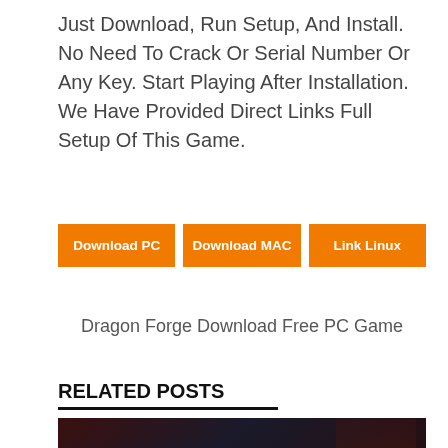Just Download, Run Setup, And Install. No Need To Crack Or Serial Number Or Any Key. Start Playing After Installation. We Have Provided Direct Links Full Setup Of This Game.
Download PC
Download MAC
Link Linux
Dragon Forge Download Free PC Game
RELATED POSTS
[Figure (photo): Game promotional banner image with text 'M MY BATTLE, TO OUR WAR' and a large stylized logo with number 4 in red, featuring a character silhouette on a dark background]